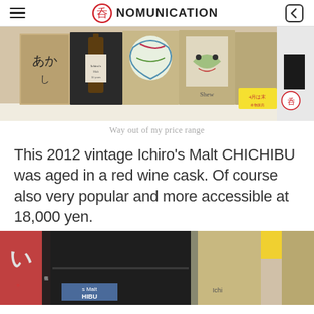NOMUNICATION
[Figure (photo): Photo of Japanese whisky boxes on a shelf, including Ichiro's Malt Chichibu bottles in decorative boxes with Japanese text and colorful labels]
Way out of my price range
This 2012 vintage Ichiro's Malt CHICHIBU was aged in a red wine cask. Of course also very popular and more accessible at 18,000 yen.
[Figure (photo): Close-up photo of more Japanese whisky boxes including Ichiro's Malt Chichibu bottles, partially cropped at bottom of page]